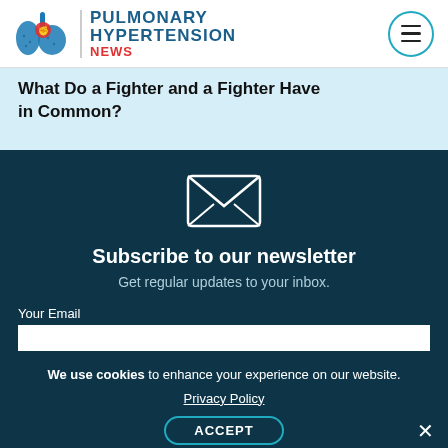[Figure (logo): Pulmonary Hypertension News logo with lungs illustration and site name]
What Do a Fighter and a Fighter Have in Common?
Subscribe to our newsletter
Get regular updates to your inbox.
Your Email
We use cookies to enhance your experience on our website. Privacy Policy ACCEPT